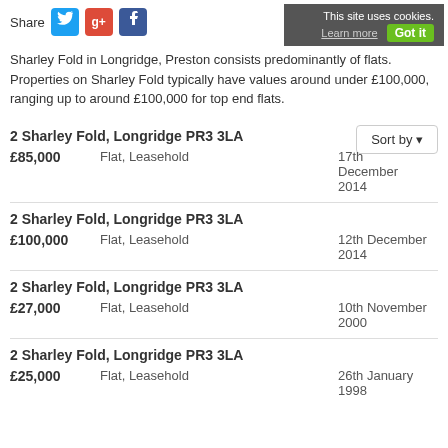This site uses cookies. Learn more Got it
[Figure (infographic): Share bar with Twitter, Google+, and Facebook social media icons]
Sharley Fold in Longridge, Preston consists predominantly of flats. Properties on Sharley Fold typically have values around under £100,000, ranging up to around £100,000 for top end flats.
2 Sharley Fold, Longridge PR3 3LA | £85,000 | Flat, Leasehold | 17th December 2014
2 Sharley Fold, Longridge PR3 3LA | £100,000 | Flat, Leasehold | 12th December 2014
2 Sharley Fold, Longridge PR3 3LA | £27,000 | Flat, Leasehold | 10th November 2000
2 Sharley Fold, Longridge PR3 3LA | £25,000 | Flat, Leasehold | 26th January 1998